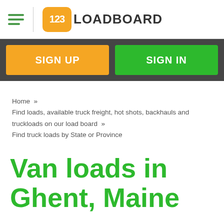123LOADBOARD
SIGN UP  SIGN IN
Home » Find loads, available truck freight, hot shots, backhauls and truckloads on our load board » Find truck loads by State or Province
Van loads in Ghent, Maine